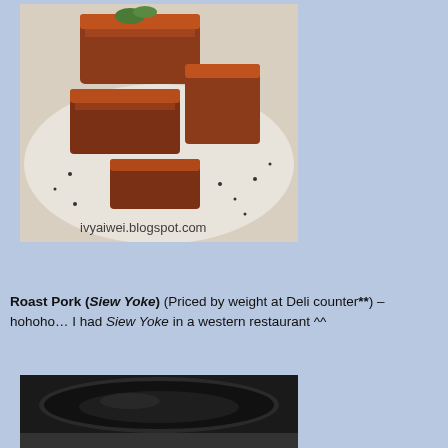[Figure (photo): Photo of roast pork (Siew Yoke) sliced on a white plate, with watermark text 'ivyaiwei.blogspot.com']
Roast Pork (Siew Yoke) (Priced by weight at Deli counter**) – hohoho… I had Siew Yoke in a western restaurant ^^
[Figure (photo): Partial photo of a dark bowl or plate, bottom portion of the page]